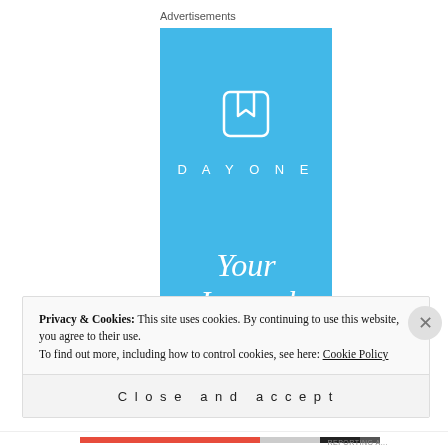Advertisements
[Figure (illustration): DayOne app advertisement banner. Light blue background with a white bookmark/journal icon at top, 'DAYONE' brand name in white spaced letters, and large italic white text reading 'Your Journal for life'.]
Privacy & Cookies: This site uses cookies. By continuing to use this website, you agree to their use.
To find out more, including how to control cookies, see here: Cookie Policy
Close and accept